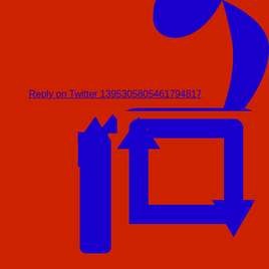[Figure (illustration): Red background with large blue decorative shapes and arrows: a crescent/comma shape in the top right corner, an upward-pointing arrow on the lower left, and a retweet/refresh square arrow icon on the lower right.]
Reply on Twitter 1395305805461794817